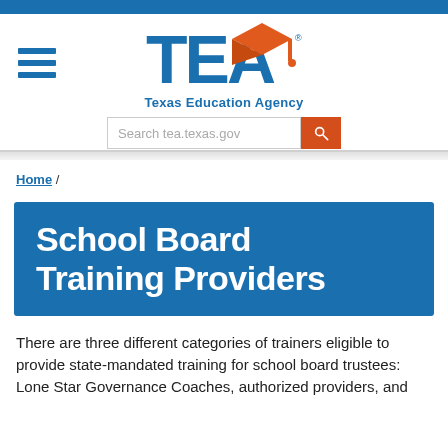[Figure (logo): Texas Education Agency (TEA) logo with blue TEA text and orange graduation cap, and 'Texas Education Agency' subtitle]
Search tea.texas.gov
Home /
School Board Training Providers
There are three different categories of trainers eligible to provide state-mandated training for school board trustees: Lone Star Governance Coaches, authorized providers, and